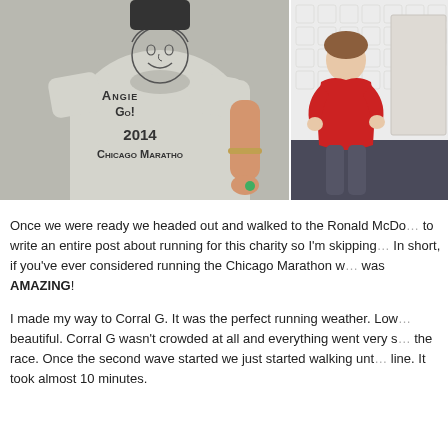[Figure (photo): Two photos side by side. Left photo: a gray t-shirt with a cartoon face drawing and text 'ANGIE GO! 2014 CHICAGO MARATHON'. Right photo: a person wearing a red t-shirt standing in a room.]
Once we were ready we headed out and walked to the Ronald McDo... to write an entire post about running for this charity so I'm skipping... In short, if you've ever considered running the Chicago Marathon w... was AMAZING!
I made my way to Corral G. It was the perfect running weather. Low... beautiful. Corral G wasn't crowded at all and everything went very s... the race. Once the second wave started we just started walking unt... line. It took almost 10 minutes.